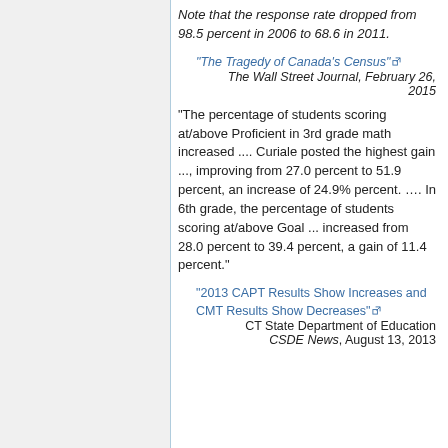Note that the response rate dropped from 98.5 percent in 2006 to 68.6 in 2011.
"The Tragedy of Canada's Census" The Wall Street Journal, February 26, 2015
"The percentage of students scoring at/above Proficient in 3rd grade math increased .... Curiale posted the highest gain ..., improving from 27.0 percent to 51.9 percent, an increase of 24.9% percent. …. In 6th grade, the percentage of students scoring at/above Goal ... increased from 28.0 percent to 39.4 percent, a gain of 11.4 percent."
"2013 CAPT Results Show Increases and CMT Results Show Decreases" CT State Department of Education CSDE News, August 13, 2013